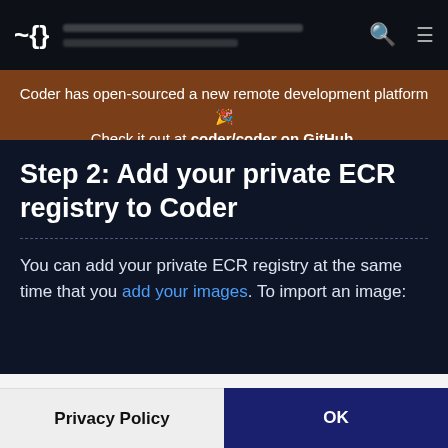[Figure (screenshot): Navigation bar with Coder logo icon, blurred content lines, search icon, and hamburger menu icon on dark background]
Coder has open-sourced a new remote development platform 🎉 Check it out at coder/coder on GitHub.
Step 2: Add your private ECR registry to Coder
You can add your private ECR registry at the same time that you add your images. To import an image:
We use cookies to make your experience better.
Privacy Policy
OK